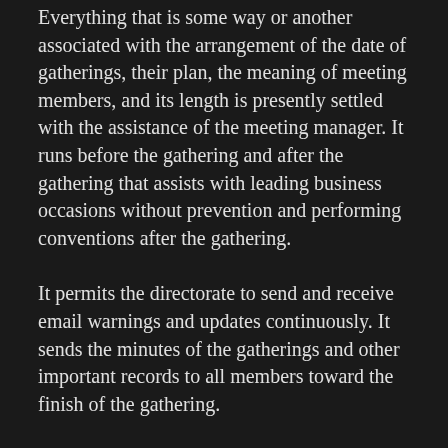Everything that is some way or another associated with the arrangement of the date of gatherings, their plan, the meaning of meeting members, and its length is presently settled with the assistance of the meeting manager. It runs before the gathering and after the gathering that assists with leading business occasions without prevention and performing conventions after the gathering.
It permits the directorate to send and receive email warnings and updates continuously. It sends the minutes of the gatherings and other important records to all members toward the finish of the gathering.